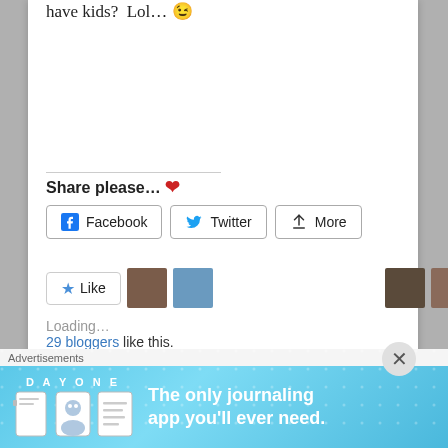have kids? Lol… 😉
Share please… ❤
[Figure (screenshot): Social share buttons: Facebook, Twitter, More]
[Figure (screenshot): Like button with star icon and blogger avatar thumbnails. Loading... 29 bloggers like this.]
29 bloggers like this.
#MidnightMadness —
[Figure (infographic): DayOne app advertisement banner: 'The only journaling app you'll ever need.']